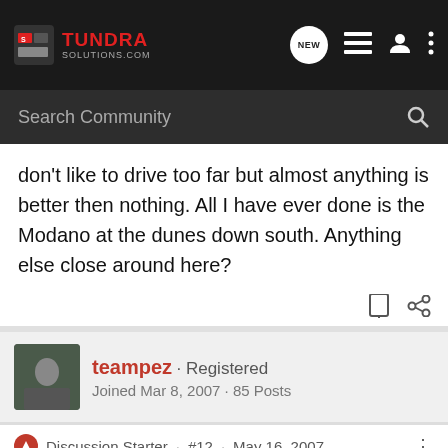[Figure (logo): TundraSolutions.com logo with navigation icons on dark bar]
Search Community
don't like to drive too far but almost anything is better then nothing. All I have ever done is the Modano at the dunes down south. Anything else close around here?
teampez · Registered
Joined Mar 8, 2007 · 85 Posts
Discussion Starter · #12 · May 16, 2007
mranderson25,
we dont get down south to much, we generally do trails up this way, or in the front range area, and in the Beuna Vista area. I only know of about two trails inb the Co.Springs area, we may